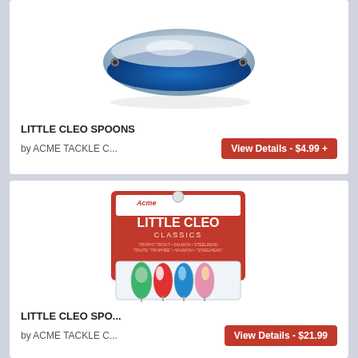[Figure (photo): A silver and blue fishing spoon lure (Little Cleo Spoons) on white background]
LITTLE CLEO SPOONS
by ACME TACKLE C...
View Details - $4.99 +
[Figure (photo): A retail blister pack of Acme Little Cleo Classics fishing spoons, containing 4 spoons in green/silver, red/white, blue/silver, and pink/gold colors]
LITTLE CLEO SPO...
by ACME TACKLE C...
View Details - $21.99